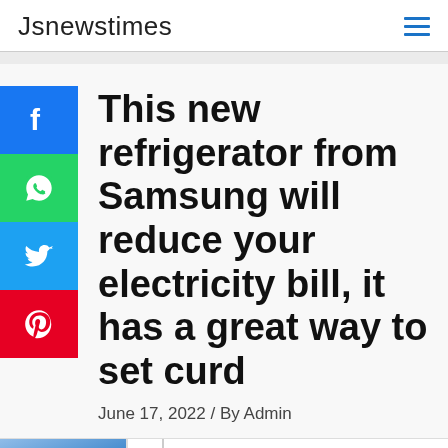Jsnewstimes
This new refrigerator from Samsung will reduce your electricity bill, it has a great way to set curd
June 17, 2022 / By Admin
[Figure (screenshot): Advertisement banner showing Simax Laboratory Glassware with blue gradient product image and Open button]